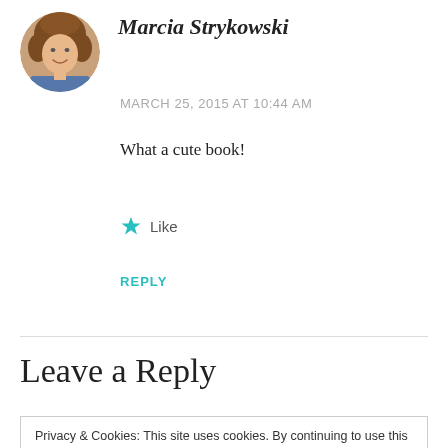[Figure (photo): Circular avatar photo of a woman with curly hair, smiling, wearing a blue/denim top]
Marcia Strykowski
MARCH 25, 2015 AT 10:44 AM
What a cute book!
★ Like
REPLY
Leave a Reply
Privacy & Cookies: This site uses cookies. By continuing to use this website, you agree to their use.
To find out more, including how to control cookies, see here: Cookie Policy
Close and accept